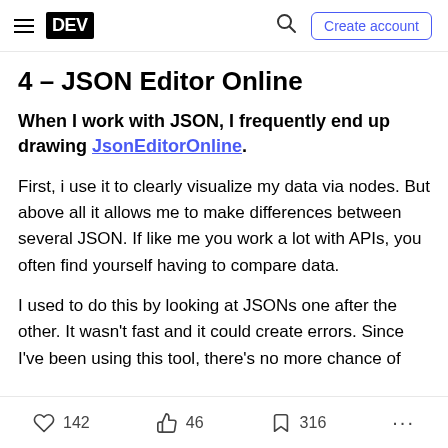DEV — Create account
4 – JSON Editor Online
When I work with JSON, I frequently end up drawing JsonEditorOnline.
First, i use it to clearly visualize my data via nodes. But above all it allows me to make differences between several JSON. If like me you work a lot with APIs, you often find yourself having to compare data.
I used to do this by looking at JSONs one after the other. It wasn't fast and it could create errors. Since I've been using this tool, there's no more chance of
142 likes   46 reactions   316 bookmarks